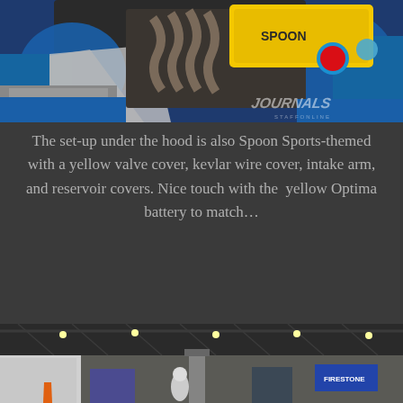[Figure (photo): Close-up photo of a car engine bay with a blue car body, yellow valve cover (Spoon Sports themed), wrapped exhaust headers, kevlar wire cover, red button, blue reservoir caps, and a 'Journals' watermark in the bottom right.]
The set-up under the hood is also Spoon Sports-themed with a yellow valve cover, kevlar wire cover, intake arm, and reservoir covers. Nice touch with the  yellow Optima battery to match…
[Figure (photo): Wide-angle photo of a large indoor exhibition hall or car show venue with high ceilings, metal trusses, spotlights, and people visible in the lower portion. A Firestone banner is visible on the right side.]